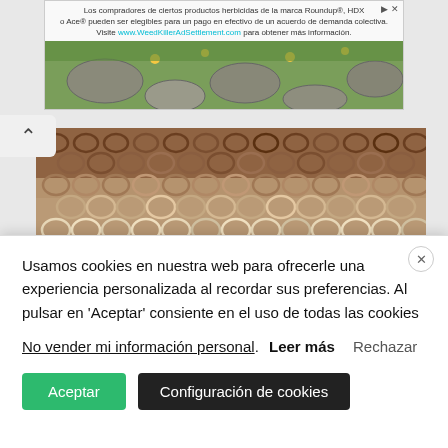[Figure (screenshot): Advertisement banner for WeedKillerAdSettlement.com in Spanish. Text reads: 'Los compradores de ciertos productos herbicidas de la marca Roundup®, HDX o Ace® pueden ser elegibles para un pago en efectivo de un acuerdo de demanda colectiva. Visite www.WeedKillerAdSettlement.com para obtener más información.' With image of garden plants and stone path below.]
[Figure (photo): Close-up photograph of knitted fabric showing textured stitches in shades of brown, beige, cream, and taupe.]
[Figure (photo): Partial strip of a second photo showing dark tones at bottom of scroll area.]
Usamos cookies en nuestra web para ofrecerle una experiencia personalizada al recordar sus preferencias. Al pulsar en 'Aceptar' consiente en el uso de todas las cookies
No vender mi información personal. Leer más Rechazar
Aceptar  Configuración de cookies